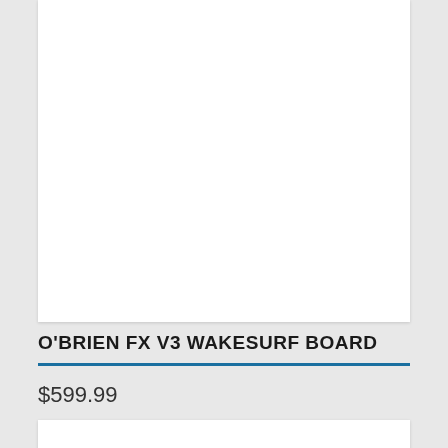[Figure (photo): Product image area showing a white card/panel for the O'Brien FX V3 Wakesurf Board — image content is blank/white]
O'BRIEN FX V3 WAKESURF BOARD
$599.99